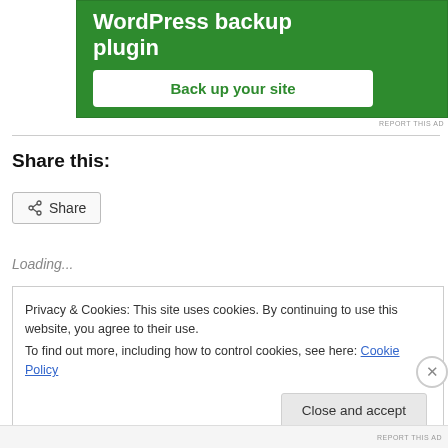[Figure (screenshot): Green advertisement banner for a WordPress backup plugin with a 'Back up your site' button]
REPORT THIS AD
Share this:
Share (button)
Loading...
Privacy & Cookies: This site uses cookies. By continuing to use this website, you agree to their use.
To find out more, including how to control cookies, see here: Cookie Policy
Close and accept